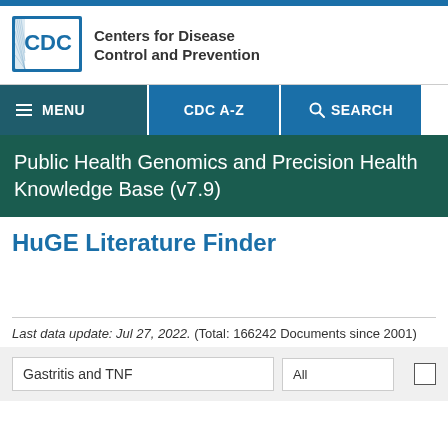[Figure (logo): CDC logo — Centers for Disease Control and Prevention]
MENU  CDC A-Z  SEARCH
Public Health Genomics and Precision Health Knowledge Base (v7.9)
HuGE Literature Finder
Last data update: Jul 27, 2022. (Total: 166242 Documents since 2001)
Gastritis and TNF